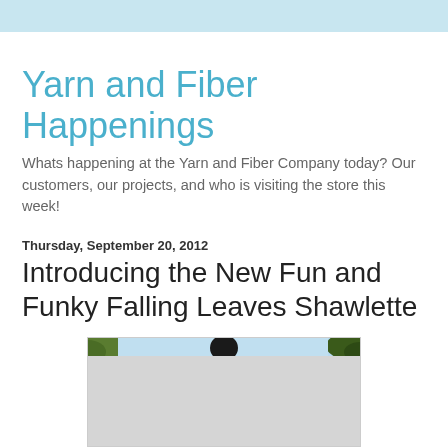Yarn and Fiber Happenings
Whats happening at the Yarn and Fiber Company today? Our customers, our projects, and who is visiting the store this week!
Thursday, September 20, 2012
Introducing the New Fun and Funky Falling Leaves Shawlette
[Figure (photo): Outdoor photo showing a person, partially visible at top, with green foliage on left and right edges and blue sky in background. Image is cropped showing only the top portion.]